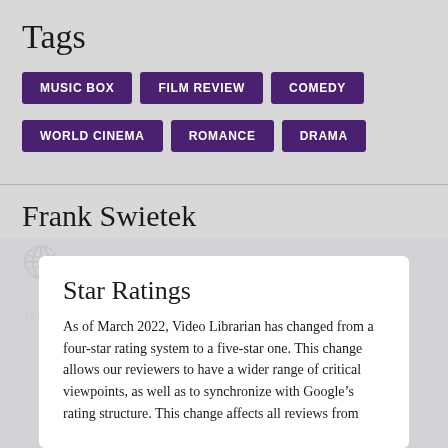Tags
MUSIC BOX
FILM REVIEW
COMEDY
WORLD CINEMA
ROMANCE
DRAMA
Frank Swietek
JANUARY 11, 2017 12:00 AM
Star Ratings
As of March 2022, Video Librarian has changed from a four-star rating system to a five-star one. This change allows our reviewers to have a wider range of critical viewpoints, as well as to synchronize with Google’s rating structure. This change affects all reviews from